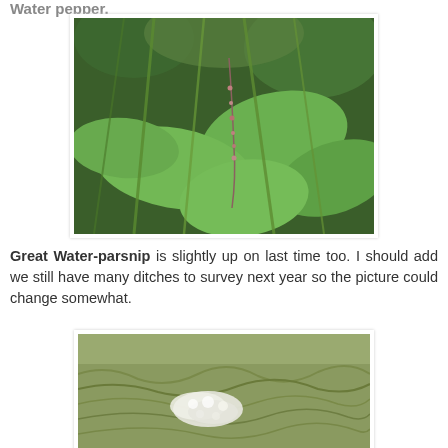Water pepper.
[Figure (photo): Close-up photograph of Water pepper plant with green leaves and small pinkish flower spikes among grass stems]
Great Water-parsnip is slightly up on last time too. I should add we still have many ditches to survey next year so the picture could change somewhat.
[Figure (photo): Photograph of Great Water-parsnip plant with white umbel flower head lying among windswept grasses]